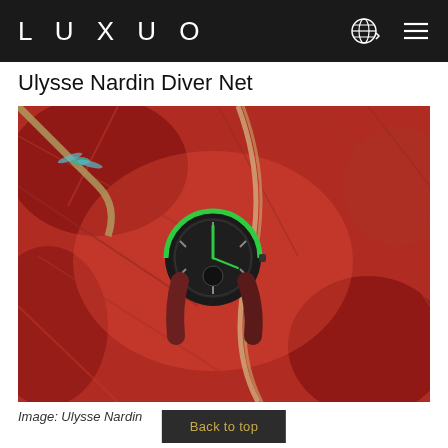LUXUO
Ulysse Nardin Diver Net
[Figure (photo): A Ulysse Nardin Diver Net watch with a black case and green accents, photographed resting on a bed of tangled red fishing nets. A small dragonfly ornament is visible in the upper left corner.]
Image: Ulysse Nardin
Back to top